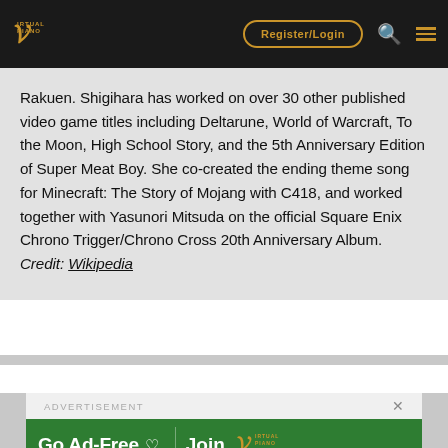Virtual Piano — Register/Login
Rakuen. Shigihara has worked on over 30 other published video game titles including Deltarune, World of Warcraft, To the Moon, High School Story, and the 5th Anniversary Edition of Super Meat Boy. She co-created the ending theme song for Minecraft: The Story of Mojang with C418, and worked together with Yasunori Mitsuda on the official Square Enix Chrono Trigger/Chrono Cross 20th Anniversary Album. Credit: Wikipedia
[Figure (other): Advertisement banner: Go Ad-Free Join Virtual Piano]